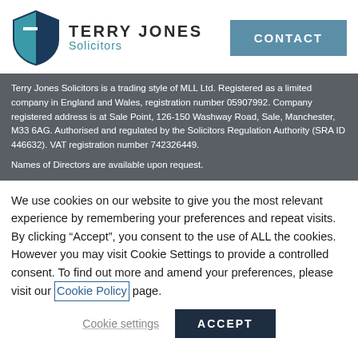[Figure (logo): Terry Jones Solicitors logo — shield shape in teal/dark blue with stylized T-J letterform, beside firm name 'TERRY JONES Solicitors']
CONTACT
Terry Jones Solicitors is a trading style of MLL Ltd. Registered as a limited company in England and Wales, registration number 05907992. Company registered address is at Sale Point, 126-150 Washway Road, Sale, Manchester, M33 6AG. Authorised and regulated by the Solicitors Regulation Authority (SRA ID 446632). VAT registration number 742326449.
Names of Directors are available upon request.
We use cookies on our website to give you the most relevant experience by remembering your preferences and repeat visits. By clicking “Accept”, you consent to the use of ALL the cookies. However you may visit Cookie Settings to provide a controlled consent. To find out more and amend your preferences, please visit our Cookie Policy page.
Cookie settings
ACCEPT